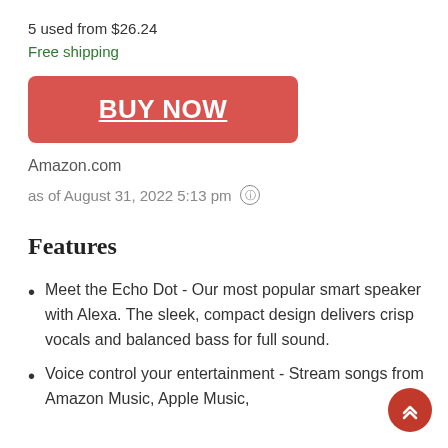5 used from $26.24
Free shipping
[Figure (other): Red BUY NOW button]
Amazon.com
as of August 31, 2022 5:13 pm ℹ
Features
Meet the Echo Dot - Our most popular smart speaker with Alexa. The sleek, compact design delivers crisp vocals and balanced bass for full sound.
Voice control your entertainment - Stream songs from Amazon Music, Apple Music,